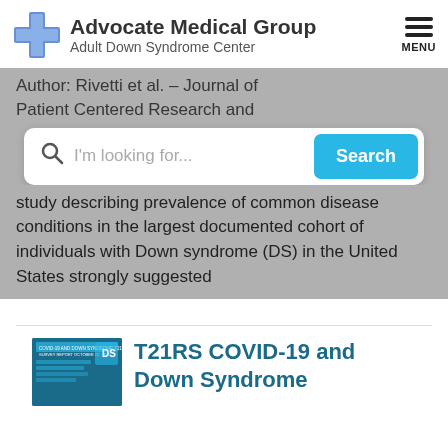[Figure (logo): Advocate Medical Group Adult Down Syndrome Center logo with blue cross]
Author: Rivetti et al. – Journal of Patient Centered Research and
study describing prevalence of common disease conditions in the largest documented cohort of individuals with Down syndrome (DS) in the United States strongly suggested
[Figure (screenshot): T21RS COVID-19 and Down Syndrome survey report thumbnail]
T21RS COVID-19 and Down Syndrome